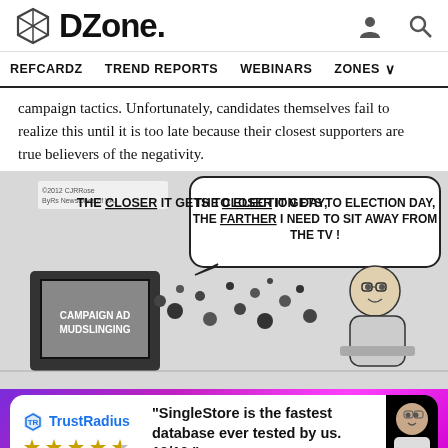DZone
REFCARDZ   TREND REPORTS   WEBINARS   ZONES
campaign tactics. Unfortunately, candidates themselves fail to realize this until it is too late because their closest supporters are true believers of the negativity.
[Figure (illustration): Political cartoon showing a man sitting far from a TV labeled 'CAMPAIGN AD MUDSLINGING' with a speech bubble: 'THE CLOSER IT GETS TO ELECTION DAY, THE FARTHER I NEED TO SIT AWAY FROM THE TV!' Copyright 2012 CJRRose, ByRs Newstones of VA.]
[Figure (infographic): TrustRadius advertisement banner with purple gradient background showing quote: 'SingleStore is the fastest database ever tested by us. 10/10.' with 4.5 star rating and a person photo on the right.]
Though there are the polarized crowds in both the Spring and Java EE